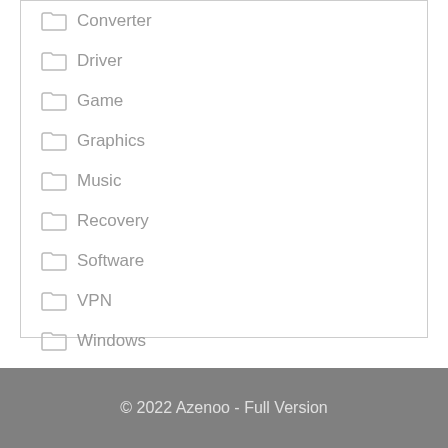Converter
Driver
Game
Graphics
Music
Recovery
Software
VPN
Windows
© 2022 Azenoo - Full Version